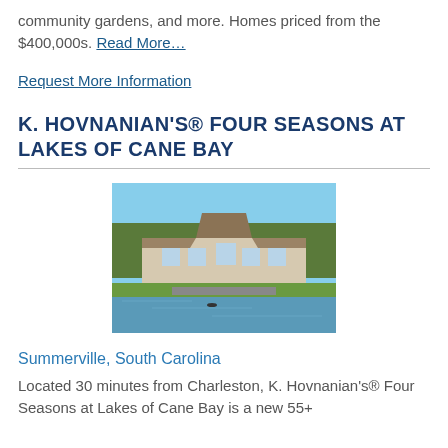community gardens, and more. Homes priced from the $400,000s. Read More…
Request More Information
K. HOVNANIAN'S® FOUR SEASONS AT LAKES OF CANE BAY
[Figure (photo): Exterior view of community clubhouse with water in foreground, blue sky background]
Summerville, South Carolina
Located 30 minutes from Charleston, K. Hovnanian's® Four Seasons at Lakes of Cane Bay is a new 55+